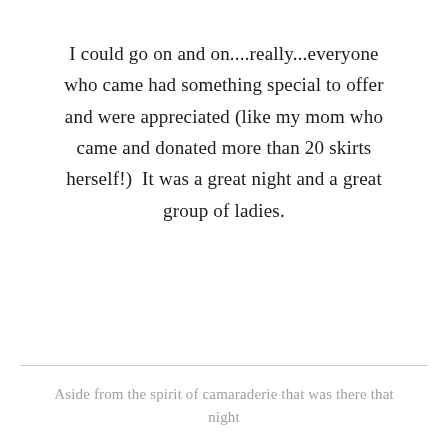I could go on and on....really...everyone who came had something special to offer and were appreciated (like my mom who came and donated more than 20 skirts herself!)  It was a great night and a great group of ladies.
Aside from the spirit of camaraderie that was there that night